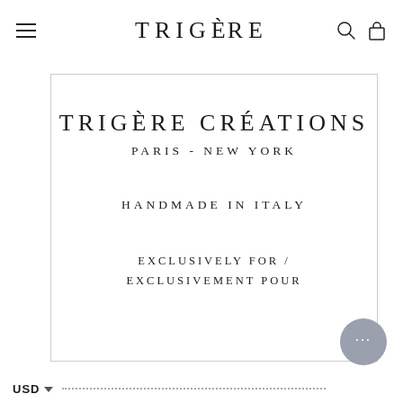TRIGÈRE
[Figure (screenshot): Trigère Créations label card showing brand name, Paris - New York, Handmade in Italy, Exclusively For / Exclusivement Pour]
TRIGÈRE CRÉATIONS
PARIS - NEW YORK
HANDMADE IN ITALY
EXCLUSIVELY FOR / EXCLUSIVEMENT POUR
USD